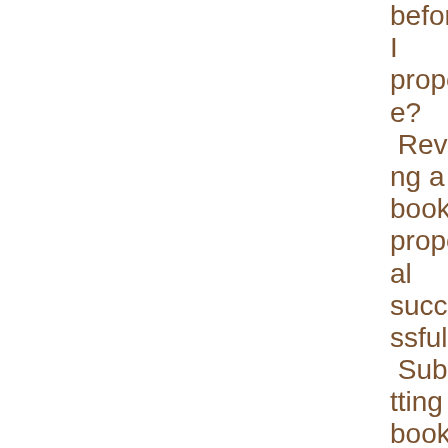before I propose? Revising a book proposal successfully Submitting a book proposal to a US-based agent from outsid